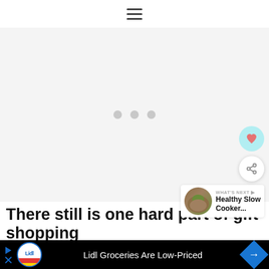☰ (hamburger menu icon)
[Figure (screenshot): Large image loading placeholder area with light gray background and three gray dots indicating loading state. Overlaid with a teal heart button, a white share button, and a 'What's Next' card showing a food thumbnail with text 'Healthy Slow Cooker...']
There still is one hard part of gift shopping
tha... ...g what
[Figure (screenshot): Advertisement bar: Lidl logo with play button, text 'Lidl Groceries Are Low-Priced', blue diamond arrow icon]